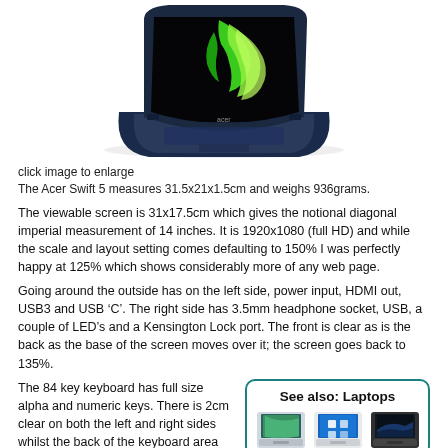[Figure (photo): Acer Swift 5 laptop open, showing green flame wallpaper on screen, dark blue body, angled view from front-left]
click image to enlarge
The Acer Swift 5 measures 31.5x21x1.5cm and weighs 936grams.
The viewable screen is 31x17.5cm which gives the notional diagonal imperial measurement of 14 inches. It is 1920x1080 (full HD) and while the scale and layout setting comes defaulting to 150% I was perfectly happy at 125% which shows considerably more of any web page.
Going around the outside has on the left side, power input, HDMI out, USB3 and USB ‘C’. The right side has 3.5mm headphone socket, USB, a couple of LED’s and a Kensington Lock port. The front is clear as is the back as the base of the screen moves over it; the screen goes back to 135%.
The 84 key keyboard has full size alpha and numeric keys. There is 2cm clear on both the left and right sides whilst the back of the keyboard area has
[Figure (illustration): See also: Laptops box with teal border showing three laptop thumbnail images]